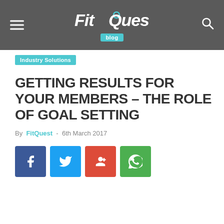FitQuest blog
Industry Solutions
GETTING RESULTS FOR YOUR MEMBERS – THE ROLE OF GOAL SETTING
By FitQuest - 6th March 2017
[Figure (other): Social sharing buttons: Facebook, Twitter, Google+, WhatsApp]